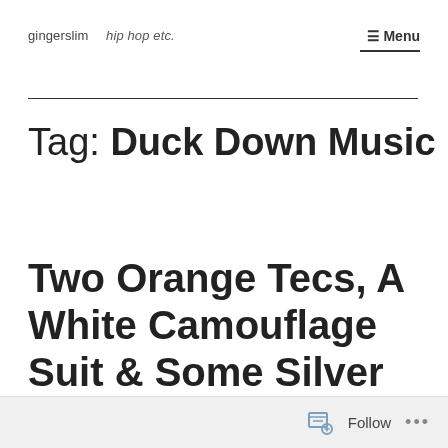gingerslim  hip hop etc.   ☰ Menu
Tag: Duck Down Music
Two Orange Tecs, A White Camouflage Suit & Some Silver Boots
Follow  •••